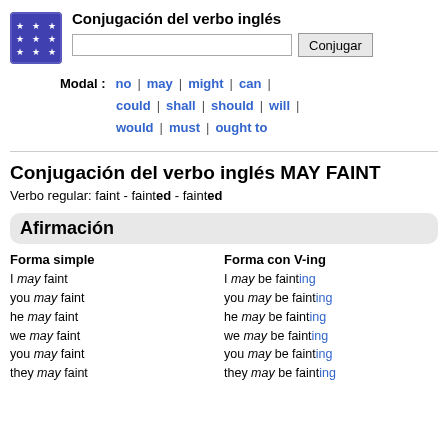[Figure (logo): Blue square logo with white stars arranged in a grid pattern]
Conjugación del verbo inglés
Modal : no | may | might | can | could | shall | should | will | would | must | ought to
Conjugación del verbo inglés MAY FAINT
Verbo regular: faint - fainted - fainted
Afirmación
Forma simple
Forma con V-ing
I may faint
you may faint
he may faint
we may faint
you may faint
they may faint
I may be fainting
you may be fainting
he may be fainting
we may be fainting
you may be fainting
they may be fainting